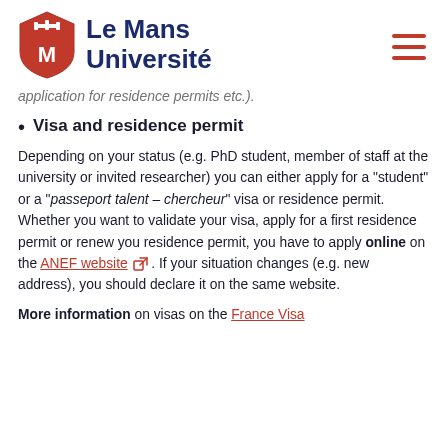Le Mans Université
application for residence permits etc.).
Visa and residence permit
Depending on your status (e.g. PhD student, member of staff at the university or invited researcher) you can either apply for a "student" or a "passeport talent – chercheur" visa or residence permit. Whether you want to validate your visa, apply for a first residence permit or renew you residence permit, you have to apply online on the ANEF website. If your situation changes (e.g. new address), you should declare it on the same website.
More information on visas on the France Visa